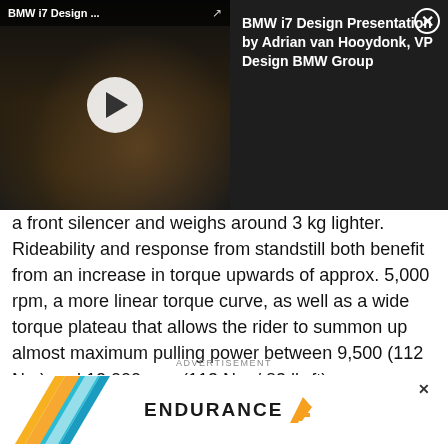[Figure (screenshot): Video thumbnail of BMW i7 interior with play button, title bar showing 'BMW i7 Design...' with share icon, and right panel showing 'BMW i7 Design Presentation by Adrian van Hooydonk, VP Design BMW Group' with close button on dark background]
a front silencer and weighs around 3 kg lighter. Rideability and response from standstill both benefit from an increase in torque upwards of approx. 5,000 rpm, a more linear torque curve, as well as a wide torque plateau that allows the rider to summon up almost maximum pulling power between 9,500 (112 Nm) and 12,000 rpm (113 Nm / 83 lb-ft).
ADVERTISEMENT
[Figure (logo): Endurance advertisement with orange and blue chevron logo and ENDURANCE text with stylized E logo mark]